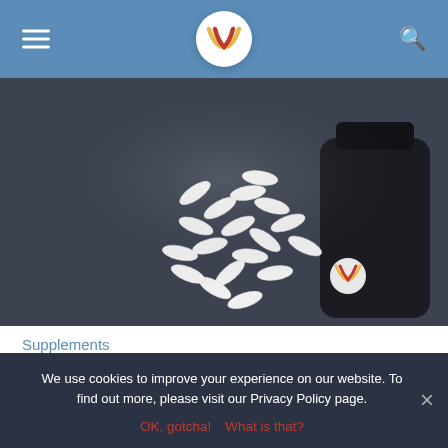[Figure (screenshot): Website navigation bar with hamburger menu, logo (LV in stylized script on white circle), and search icon on steel-blue background]
[Figure (photo): White supplement capsules/pills scattered from a dark bottle on a dark gray surface, viewed from above, with LV logo watermark]
Supplements
What Is a Proprietary Blend in Supplements? (Why
We use cookies to improve your experience on our website. To find out more, please visit our Privacy Policy page.
OK, gotcha!  What is that?